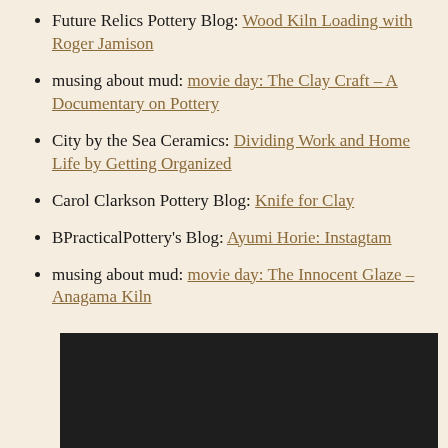Future Relics Pottery Blog: Wood Kiln Loading with Roger Jamison
musing about mud: movie day: The Clay Craft – A Documentary on Pottery
City by the Sea Ceramics: Dividing Work and Home Life by Getting Organized
Carol Clarkson Pottery Blog: Knife for Clay
BPracticalPottery's Blog: Ayumi Horie: Instagtam
musing about mud: movie day: The Innocent Glaze – Anagama Kiln
[Figure (photo): Dark/black rectangle, likely an embedded video thumbnail]